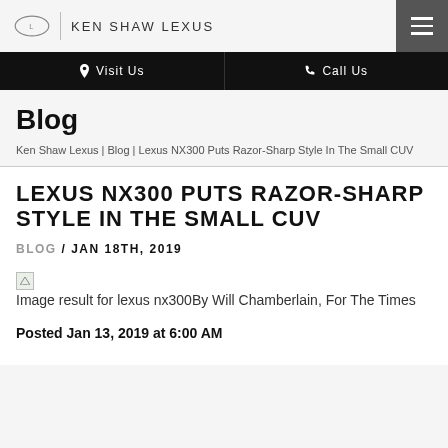KEN SHAW LEXUS
Visit Us | Call Us
Blog
Ken Shaw Lexus | Blog | Lexus NX300 Puts Razor-Sharp Style In The Small CUV
LEXUS NX300 PUTS RAZOR-SHARP STYLE IN THE SMALL CUV
BLOG / JAN 18TH, 2019
[Figure (photo): Broken image placeholder for lexus nx300]
By Will Chamberlain, For The Times
Posted Jan 13, 2019 at 6:00 AM